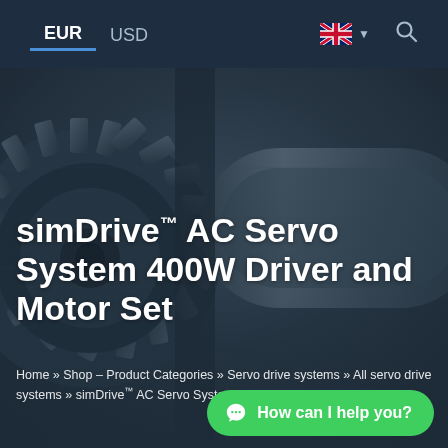EUR  USD
[Figure (photo): Close-up photograph of dark grey industrial servo motor or gearbox components, showing metal gears and cylindrical surfaces with a dark blue-grey tone]
simDrive™ AC Servo System 400W Driver and Motor Set
Home » Shop – Product Categories » Servo drive systems » All servo drive systems » simDrive™ AC Servo System 400W Driver and Motor Set